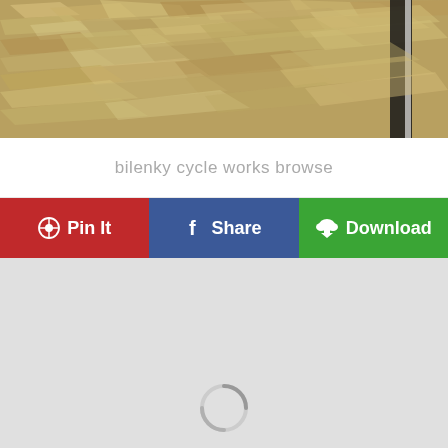[Figure (photo): Partial photo of a bicycle wheel on a wood chip/mulch ground surface, cropped at the top]
bilenky cycle works browse
Pin It
Share
Download
[Figure (other): Light gray loading area with a circular loading spinner icon in the center-bottom]